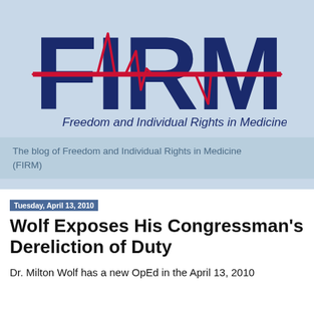[Figure (logo): FIRM logo - Freedom and Individual Rights in Medicine. Large dark navy blue letters 'FIRM' with a red EKG/heartbeat line running through them, on a light blue background. Subtitle text: 'Freedom and Individual Rights in Medicine']
The blog of Freedom and Individual Rights in Medicine (FIRM)
Tuesday, April 13, 2010
Wolf Exposes His Congressman's Dereliction of Duty
Dr. Milton Wolf has a new OpEd in the April 13, 2010